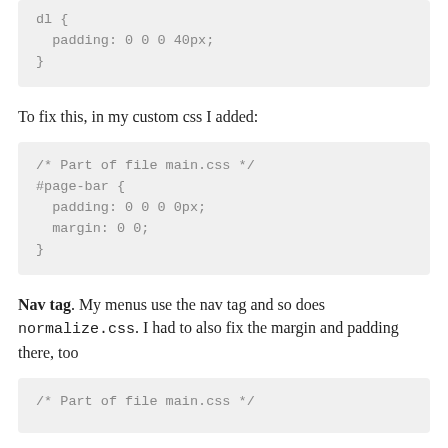[Figure (screenshot): Code block showing CSS: dl { padding: 0 0 0 40px; }]
To fix this, in my custom css I added:
[Figure (screenshot): Code block showing CSS: /* Part of file main.css */ #page-bar { padding: 0 0 0 0px; margin: 0 0; }]
Nav tag. My menus use the nav tag and so does normalize.css. I had to also fix the margin and padding there, too
[Figure (screenshot): Code block showing CSS comment: /* Part of file main.css */]